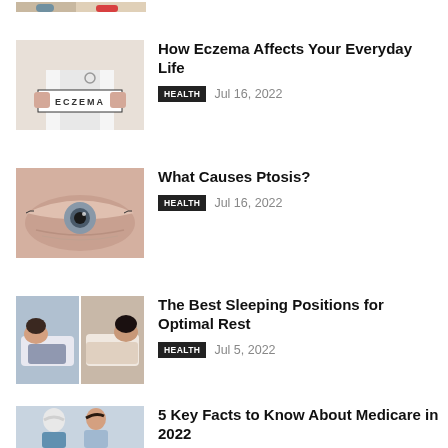[Figure (photo): Partial top of a food/health image, cropped at top of page]
[Figure (photo): Doctor in white coat holding a sign spelling ECZEMA]
How Eczema Affects Your Everyday Life
HEALTH   Jul 16, 2022
[Figure (photo): Close-up of a human eye showing ptosis]
What Causes Ptosis?
HEALTH   Jul 16, 2022
[Figure (photo): Collage of people sleeping in various positions]
The Best Sleeping Positions for Optimal Rest
HEALTH   Jul 5, 2022
[Figure (photo): Elderly woman and younger woman, medical/medicare context]
5 Key Facts to Know About Medicare in 2022
HEALTH   Jul 5, 2022